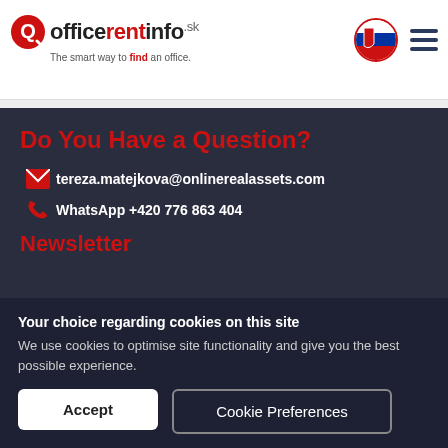officerentinfo.sk — The smart way to find an office.
Do You Have a Question?
tereza.matejkova@onlinerealassets.com
WhatsApp +420 776 863 404
Newsletter
Your choice regarding cookies on this site
We use cookies to optimise site functionality and give you the best possible experience.
Accept
Cookie Preferences